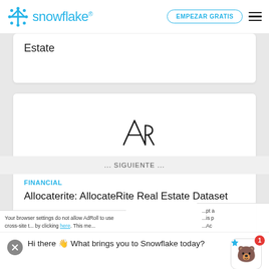snowflake — EMPEZAR GRATIS
Estate
[Figure (logo): AllocateRite logo: stylized AR monogram in black]
FINANCIAL
Allocaterite: AllocateRite Real Estate Dataset
Hi there 👋 What brings you to Snowflake today?
Your browser settings do not allow AdRoll to use cross-site t... by clicking here. This me...